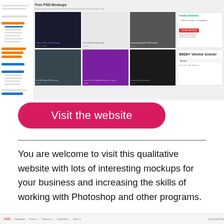[Figure (screenshot): Screenshot of a Free PSD Mockups website showing a grid of phone/device mockup images with sidebar navigation]
Visit the website
You are welcome to visit this qualitative website with lots of interesting mockups for your business and increasing the skills of working with Photoshop and other programs.
[Figure (screenshot): Bottom footer bar of a website (FDR logo and navigation links)]